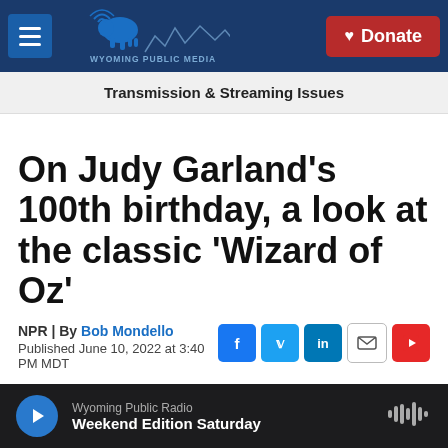Wyoming Public Media | Donate
Transmission & Streaming Issues
On Judy Garland's 100th birthday, a look at the classic 'Wizard of Oz'
NPR | By Bob Mondello
Published June 10, 2022 at 3:40 PM MDT
Wyoming Public Radio — Weekend Edition Saturday